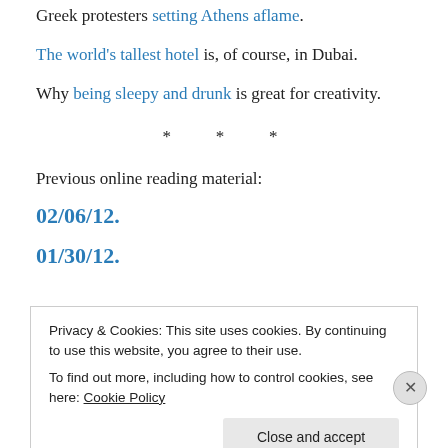Greek protesters setting Athens aflame.
The world's tallest hotel is, of course, in Dubai.
Why being sleepy and drunk is great for creativity.
* * *
Previous online reading material:
02/06/12.
01/30/12.
Privacy & Cookies: This site uses cookies. By continuing to use this website, you agree to their use.
To find out more, including how to control cookies, see here: Cookie Policy
Close and accept